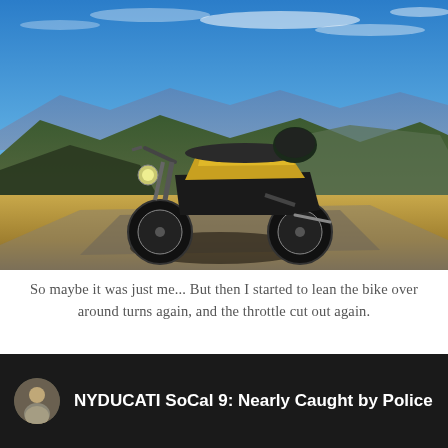[Figure (photo): A black and yellow Ducati Scrambler motorcycle parked on a rocky dirt road overlook with a mountain range and blue sky with light clouds in the background.]
So maybe it was just me... But then I started to lean the bike over around turns again, and the throttle cut out again.
[Figure (screenshot): A YouTube video thumbnail/embed showing a user avatar on the left and the video title 'NYDUCATI SoCal 9: Nearly Caught by Police W' on a dark background.]